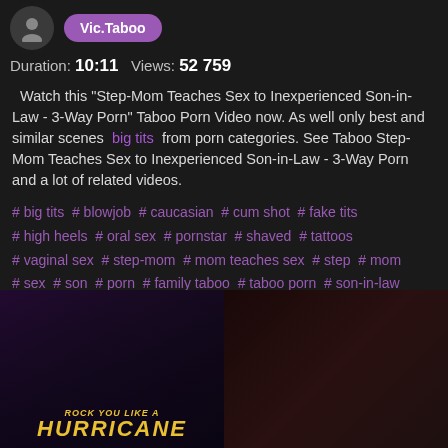[Figure (other): User avatar circle icon with person silhouette]
Vic.Taboo
Duration: 10:11   Views: 52 759
Watch this "Step-Mom Teaches Sex to Inexperienced Son-in-Law - 3-Way Porn" Taboo Porn Video now. As well only best and similar scenes big tits from porn categories. See Taboo Step-Mom Teaches Sex to Inexperienced Son-in-Law - 3-Way Porn and a lot of related videos.
# big tits # blowjob # caucasian # cum shot # fake tits
# high heels # oral sex # pornstar # shaved # tattoos
# vaginal sex # step-mom # mom teaches sex # step # mom
# sex # son # porn # family taboo # taboo porn # son-in-law
# mom son sex # taboo stepmother son # stepson stepmom
# stepmother # stepson taboo # incest mom
[Figure (photo): Thumbnail image on the left showing group of women with Hurricane title overlay text]
[Figure (photo): Thumbnail image on the right showing two people in an intimate scene]